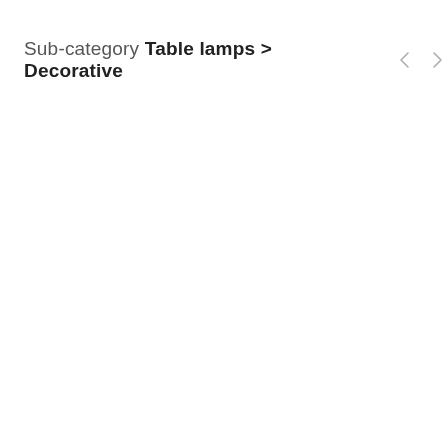Sub-category Table lamps > Decorative